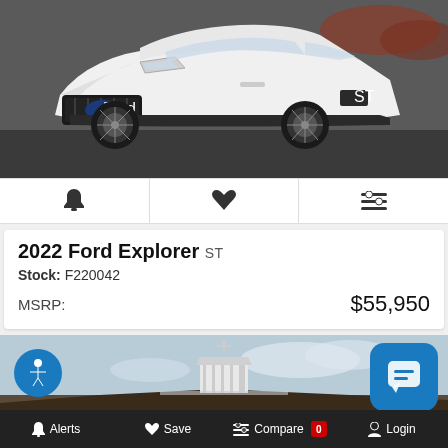[Figure (photo): White 2022 Ford Explorer ST SUV photographed from front-left angle on a dark parking surface with trees in background]
🔔  ♥  ⇌
2022 Ford Explorer ST
Stock: F220042
MSRP: $55,950
[Figure (photo): Partial view of a building exterior with white cupola/clock tower against a partly cloudy sky, dark roofline visible]
Alerts  Save  Compare 0  Login